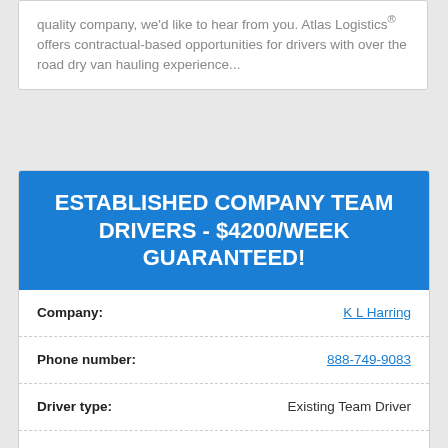quality company, we'd like to hear from you. Atlas Logistics® offers contractual-based opportunities for drivers with over the road dry van hauling experience...
ESTABLISHED COMPANY TEAM DRIVERS - $4200/WEEK GUARANTEED!
| Field | Value |
| --- | --- |
| Company: | K L Harring |
| Phone number: | 888-749-9083 |
| Driver type: | Existing Team Driver |
| Equipment type: | Refrigerated |
| Job type: | Over the Road |
| Miles per week: | ... |
| Compensation: | ... |
| Bonus: | ... |
| Home time: | ... |
DRIVER BUILT, TEAM DRIVEN. K L Harring is a full service